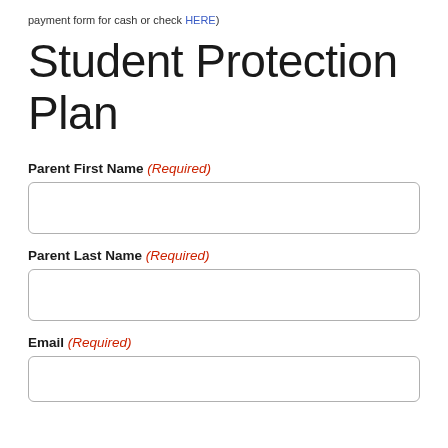payment form for cash or check HERE)
Student Protection Plan
Parent First Name (Required)
Parent Last Name (Required)
Email (Required)